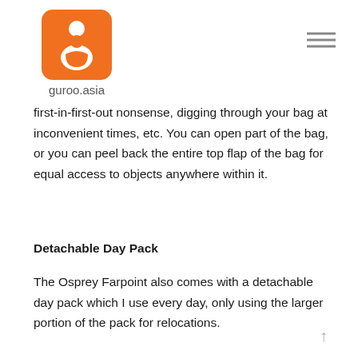guroo.asia
first-in-first-out nonsense, digging through your bag at inconvenient times, etc. You can open part of the bag, or you can peel back the entire top flap of the bag for equal access to objects anywhere within it.
Detachable Day Pack
The Osprey Farpoint also comes with a detachable day pack which I use every day, only using the larger portion of the pack for relocations.